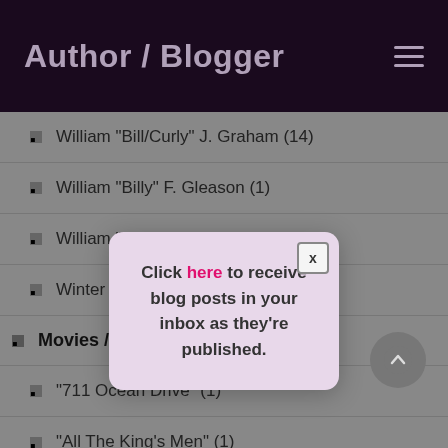Author / Blogger
William "Bill/Curly" J. Graham (14)
William "Billy" F. Gleason (1)
William "Willie" [truncated behind popup]
Winter Hill Gang [truncated behind popup]
Movies / Movie Stars / Celebrities (5)
"711 Ocean Drive" (1)
"All The King's Men" (1)
"Born to Gamble" (1)
[Figure (infographic): A popup modal with a pink/lavender background displaying text: 'Click here to receive blog posts in your inbox as they're published.' with a close button (x) in the top-right corner.]